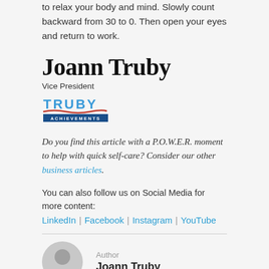to relax your body and mind. Slowly count backward from 30 to 0. Then open your eyes and return to work.
Joann Truby
Vice President
[Figure (logo): Truby Achievements logo with red wave and blue banner]
Do you find this article with a P.O.W.E.R. moment to help with quick self-care? Consider our other business articles.
You can also follow us on Social Media for more content: LinkedIn | Facebook | Instagram | YouTube
Author
Joann Truby